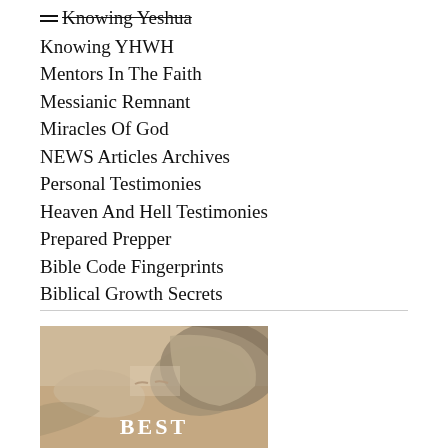Knowing Yeshua
Knowing YHWH
Mentors In The Faith
Messianic Remnant
Miracles Of God
NEWS Articles Archives
Personal Testimonies
Heaven And Hell Testimonies
Prepared Prepper
Bible Code Fingerprints
Biblical Growth Secrets
[Figure (illustration): Michelangelo's Creation of Adam fresco detail, showing God and Adam's hands nearly touching, with the word BEST overlaid in white text at the bottom center.]